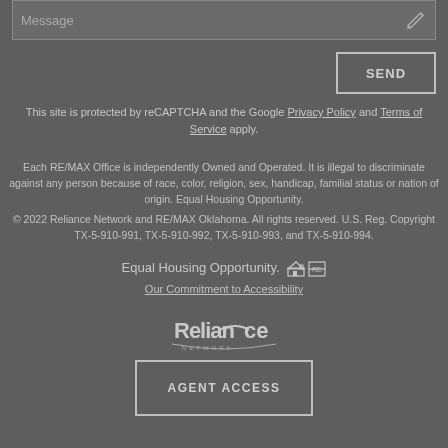Message
SEND
This site is protected by reCAPTCHA and the Google Privacy Policy and Terms of Service apply.
Each RE/MAX Office is independently Owned and Operated. It is illegal to discriminate against any person because of race, color, religion, sex, handicap, familial status or nation of origin. Equal Housing Opportunity.
© 2022 Reliance Network and RE/MAX Oklahoma. All rights reserved. U.S. Reg. Copyright TX-5-910-991, TX-5-910-992, TX-5-910-993, and TX-5-910-994.
Equal Housing Opportunity.
Our Commitment to Accessibility
[Figure (logo): Reliance Network logo in white/grey text]
AGENT ACCESS